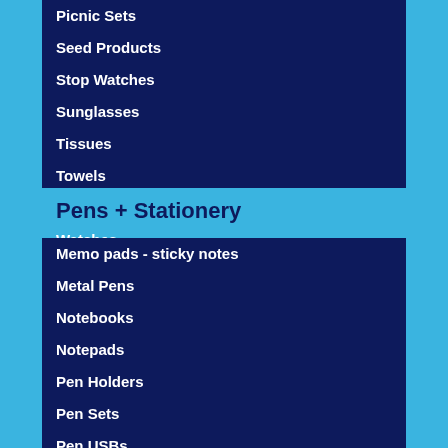Picnic Sets
Seed Products
Stop Watches
Sunglasses
Tissues
Towels
Umbrellas
Watches
Pens + Stationery
Memo pads - sticky notes
Metal Pens
Notebooks
Notepads
Pen Holders
Pen Sets
Pen USBs
Pen and Pencil Gift Packaging
Pencil Cases
Pencils